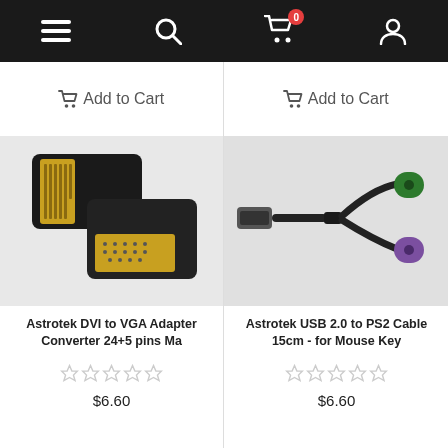[Figure (screenshot): Navigation bar with menu (hamburger), search, cart (badge 0), and user profile icons on dark background]
🛒 Add to Cart
🛒 Add to Cart
[Figure (photo): Astrotek DVI to VGA adapter converter, black with gold pins, two pieces shown]
[Figure (photo): Astrotek USB 2.0 to PS2 cable 15cm, black cable splitting into green and purple PS2 connectors]
Astrotek DVI to VGA Adapter Converter 24+5 pins Ma
Astrotek USB 2.0 to PS2 Cable 15cm - for Mouse Key
☆☆☆☆☆
$6.60
☆☆☆☆☆
$6.60